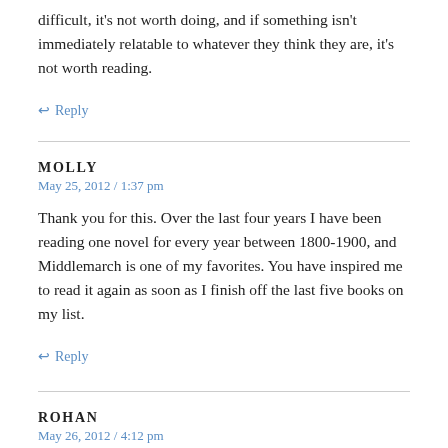difficult, it's not worth doing, and if something isn't immediately relatable to whatever they think they are, it's not worth reading.
↩ Reply
MOLLY
May 25, 2012 / 1:37 pm
Thank you for this. Over the last four years I have been reading one novel for every year between 1800-1900, and Middlemarch is one of my favorites. You have inspired me to read it again as soon as I finish off the last five books on my list.
↩ Reply
ROHAN
May 26, 2012 / 4:12 pm
Lisa, I couldn't agree more. I'm impressed that you loved